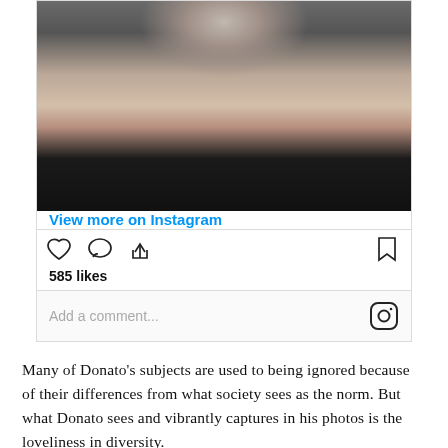[Figure (photo): Close-up black and white portrait photo of a person showing neck and chin area with stubble beard, wearing a leather jacket. Cropped Instagram post photo.]
View more on Instagram
585 likes
Add a comment...
Many of Donato’s subjects are used to being ignored because of their differences from what society sees as the norm. But what Donato sees and vibrantly captures in his photos is the loveliness in diversity.